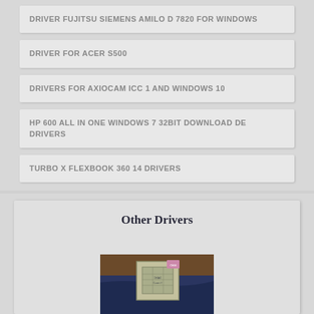DRIVER FUJITSU SIEMENS AMILO D 7820 FOR WINDOWS
DRIVER FOR ACER S500
DRIVERS FOR AXIOCAM ICC 1 AND WINDOWS 10
HP 600 ALL IN ONE WINDOWS 7 32BIT DOWNLOAD DE DRIVERS
TURBO X FLEXBOOK 360 14 DRIVERS
Other Drivers
[Figure (photo): Photo of a computer processor/CPU chip on a dark blue cloth background]